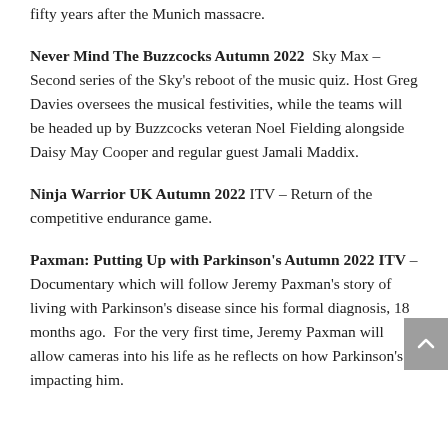fifty years after the Munich massacre.
Never Mind The Buzzcocks Autumn 2022  Sky Max –  Second series of the Sky's reboot of the music quiz. Host Greg Davies oversees the musical festivities, while the teams will be headed up by Buzzcocks veteran Noel Fielding alongside Daisy May Cooper and regular guest Jamali Maddix.
Ninja Warrior UK Autumn 2022 ITV – Return of the competitive endurance game.
Paxman: Putting Up with Parkinson's Autumn 2022 ITV – Documentary which will follow Jeremy Paxman's story of living with Parkinson's disease since his formal diagnosis, 18 months ago.  For the very first time, Jeremy Paxman will allow cameras into his life as he reflects on how Parkinson's is impacting him.